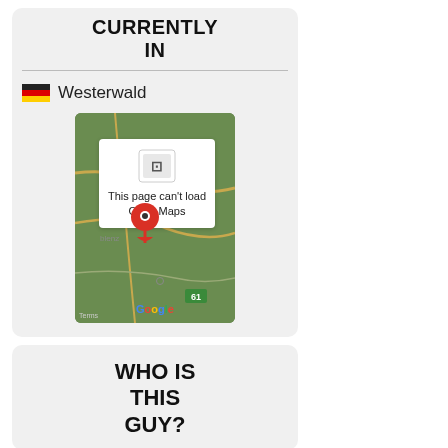CURRENTLY IN
Westerwald
[Figure (map): Google Maps embed showing Westerwald, Germany location with a red pin marker. The map shows a partially loaded state with error message 'This page can't load Google Maps'.]
WHO IS THIS GUY?